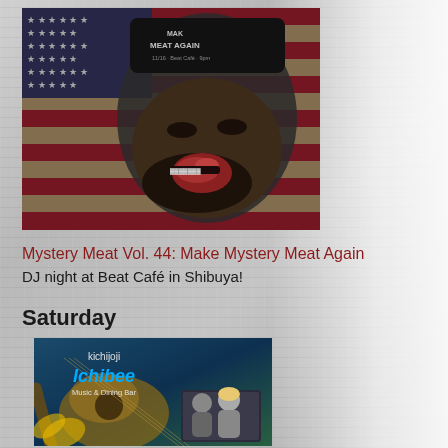[Figure (photo): Man in black cap with 'MEAT AGAIN' text eating a steak in front of an American flag, stylized high-contrast photo]
Mystery Meat Vol. 44: Make Mystery Meat Again
DJ night at Beat Café in Shibuya!
Saturday
[Figure (photo): Kichijoji Ichibee Music & Dining Bar promotional image with guitar and performers]